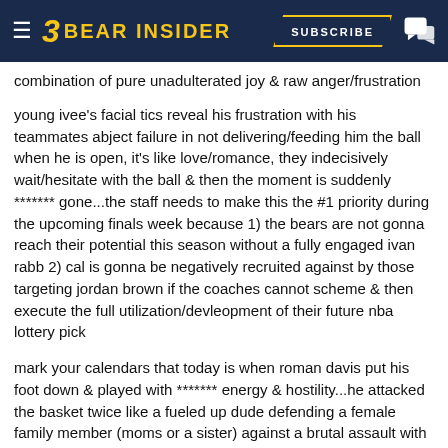BEAR INSIDER | SUBSCRIBE
combination of pure unadulterated joy & raw anger/frustration
young ivee's facial tics reveal his frustration with his teammates abject failure in not delivering/feeding him the ball when he is open, it's like love/romance, they indecisively wait/hesitate with the ball & then the moment is suddenly ******* gone...the staff needs to make this the #1 priority during the upcoming finals week because 1) the bears are not gonna reach their potential this season without a fully engaged ivan rabb 2) cal is gonna be negatively recruited against by those targeting jordan brown if the coaches cannot scheme & then execute the full utilization/devleopment of their future nba lottery pick
mark your calendars that today is when roman davis put his foot down & played with ******* energy & hostility...he attacked the basket twice like a fueled up dude defending a female family member (moms or a sister) against a brutal assault with force & then served notice to the coaches pounding his chest & asking them why the **** he's not playing more...nba scouts sitting on the floor during the 45 minutes prior to tip off early warm ups have asked me why's he not playing & i tell them the truth: he had the worst summer in terms of working his azz off of any player on the team & didn't improve his crooked azz shooting but that he got more athleticism than anybody else on the team...roman gets